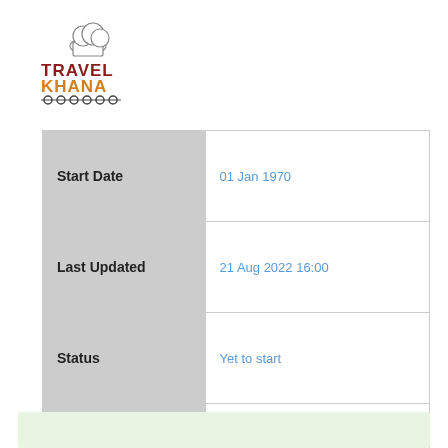[Figure (logo): TravelKhana logo with chef hat icon, TRAVEL in dark red/maroon, KHANA in orange, decorative train wheel elements below]
| Field | Value |
| --- | --- |
| Start Date | 01 Jan 1970 |
| Last Updated | 21 Aug 2022 16:00 |
| Status | Yet to start |
| Total Journey |  |